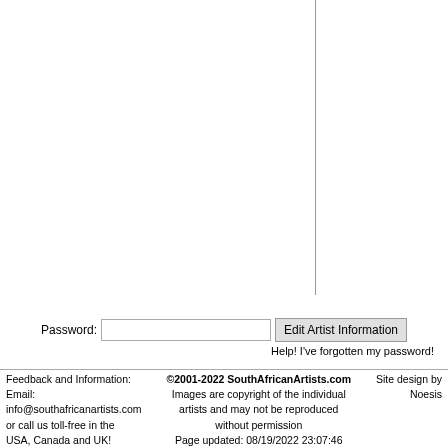Password: [input field] Edit Artist Information
Help! I've forgotten my password!
Feedback and Information:
Email:
info@southafricanartists.com
or call us toll-free in the
USA, Canada and UK!

©2001-2022 SouthAfricanArtists.com
Images are copyright of the individual
artists and may not be reproduced
without permission
Page updated: 08/19/2022 23:07:46
Site Map | Contact Us

Site design by
Noesis